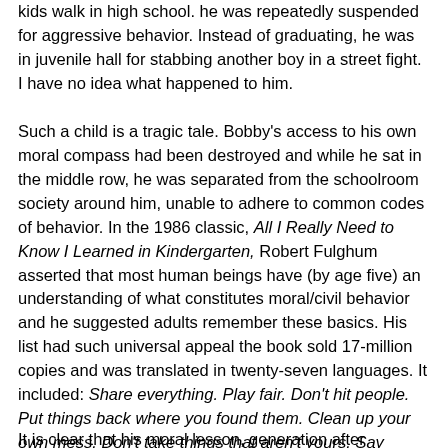kids walk in high school. he was repeatedly suspended for aggressive behavior. Instead of graduating, he was in juvenile hall for stabbing another boy in a street fight. I have no idea what happened to him.
Such a child is a tragic tale. Bobby's access to his own moral compass had been destroyed and while he sat in the middle row, he was separated from the schoolroom society around him, unable to adhere to common codes of behavior. In the 1986 classic, All I Really Need to Know I Learned in Kindergarten, Robert Fulghum asserted that most human beings have (by age five) an understanding of what constitutes moral/civil behavior and he suggested adults remember these basics. His list had such universal appeal the book sold 17-million copies and was translated in twenty-seven languages. It included: Share everything. Play fair. Don't hit people. Put things back where you found them. Clean up your own mess. Don't take things that aren't yours. Say you're sorry when you hurt somebody. Wash your hands before you eat. Flush. Warm cookies and cold milk are good for you.  Take a nap . Watch for traffic. Hold hands and stick together. Be aware of wonder.
It is clear that his moral lesson, generation after generation, child...